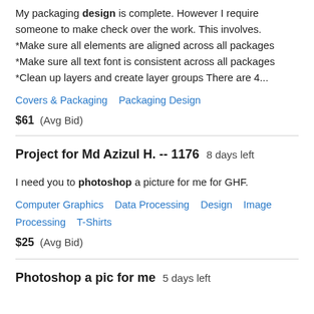My packaging design is complete. However I require someone to make check over the work. This involves. *Make sure all elements are aligned across all packages *Make sure all text font is consistent across all packages *Clean up layers and create layer groups There are 4...
Covers & Packaging   Packaging Design
$61  (Avg Bid)
Project for Md Azizul H. -- 1176   8 days left
I need you to photoshop a picture for me for GHF.
Computer Graphics   Data Processing   Design   Image Processing   T-Shirts
$25  (Avg Bid)
Photoshop a pic for me   5 days left